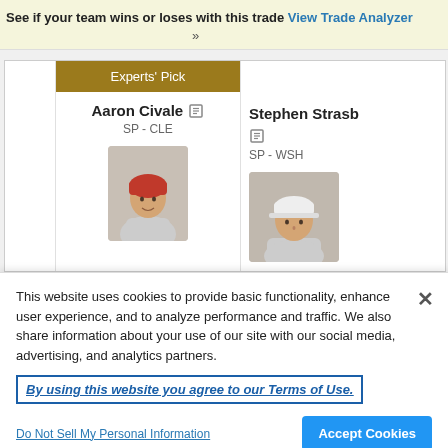See if your team wins or loses with this trade View Trade Analyzer »
[Figure (screenshot): Trade analyzer card showing Experts' Pick with Aaron Civale (SP - CLE) on left and Stephen Strasburg (SP - WSH, partially cut off) on right, each with headshot photos]
This website uses cookies to provide basic functionality, enhance user experience, and to analyze performance and traffic. We also share information about your use of our site with our social media, advertising, and analytics partners.
By using this website you agree to our Terms of Use.
Do Not Sell My Personal Information
Accept Cookies